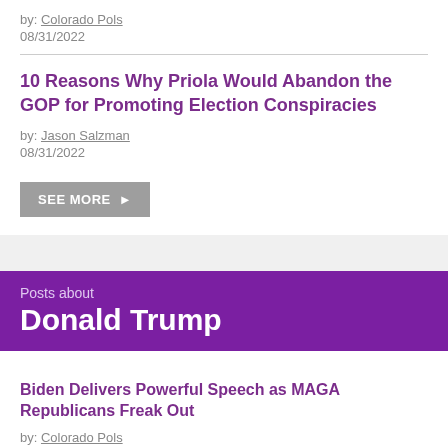by: Colorado Pols
08/31/2022
10 Reasons Why Priola Would Abandon the GOP for Promoting Election Conspiracies
by: Jason Salzman
08/31/2022
SEE MORE ▶
Posts about
Donald Trump
Biden Delivers Powerful Speech as MAGA Republicans Freak Out
by: Colorado Pols
09/02/2022
Biden Prepares to Bring the Ruckus Tonight
by: Colorado Pols